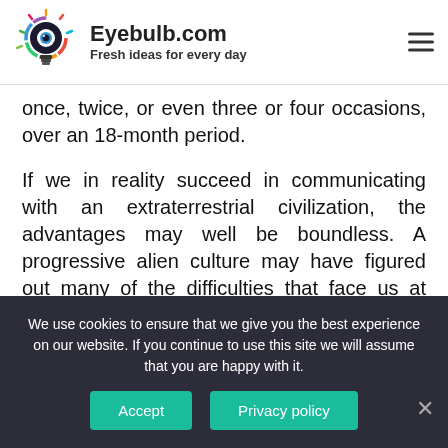Eyebulb.com — Fresh ideas for every day
once, twice, or even three or four occasions, over an 18-month period.
If we in reality succeed in communicating with an extraterrestrial civilization, the advantages may well be boundless. A progressive alien culture may have figured out many of the difficulties that face us at present, such as warfare, sickness, poverty, and environmental devastation. In summary, SETI is an attempt to discover evidence of past or present
We use cookies to ensure that we give you the best experience on our website. If you continue to use this site we will assume that you are happy with it.